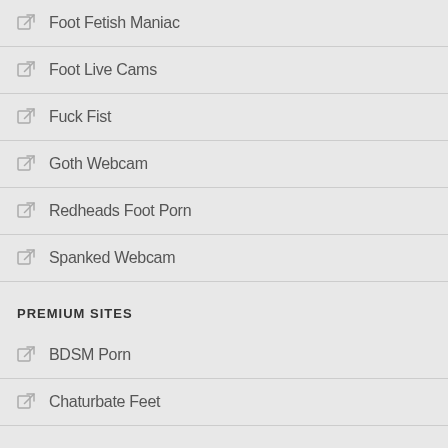Foot Fetish Maniac
Foot Live Cams
Fuck Fist
Goth Webcam
Redheads Foot Porn
Spanked Webcam
PREMIUM SITES
BDSM Porn
Chaturbate Feet